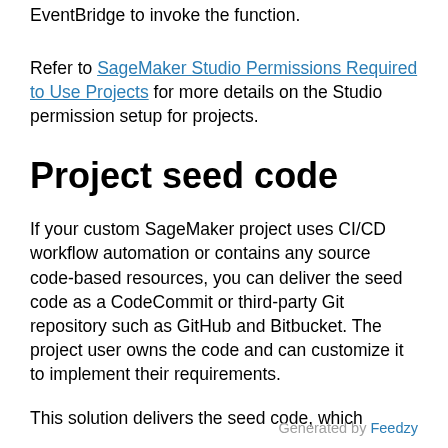EventBridge to invoke the function.
Refer to SageMaker Studio Permissions Required to Use Projects for more details on the Studio permission setup for projects.
Project seed code
If your custom SageMaker project uses CI/CD workflow automation or contains any source code-based resources, you can deliver the seed code as a CodeCommit or third-party Git repository such as GitHub and Bitbucket. The project user owns the code and can customize it to implement their requirements.
This solution delivers the seed code, which
Generated by Feedzy